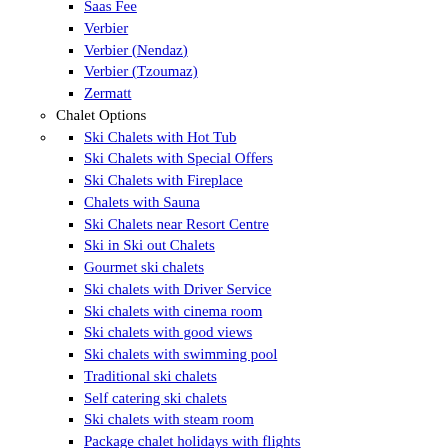Saas Fee
Verbier
Verbier (Nendaz)
Verbier (Tzoumaz)
Zermatt
Chalet Options
Ski Chalets with Hot Tub
Ski Chalets with Special Offers
Ski Chalets with Fireplace
Chalets with Sauna
Ski Chalets near Resort Centre
Ski in Ski out Chalets
Gourmet ski chalets
Ski chalets with Driver Service
Ski chalets with cinema room
Ski chalets with good views
Ski chalets with swimming pool
Traditional ski chalets
Self catering ski chalets
Ski chalets with steam room
Package chalet holidays with flights
Chalets for Groups
Search all Chalets
Search Hotels
Austria